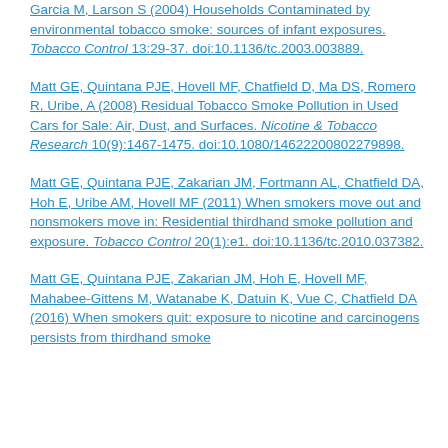Garcia M, Larson S (2004) Households Contaminated by environmental tobacco smoke: sources of infant exposures. Tobacco Control 13:29-37. doi:10.1136/tc.2003.003889.
Matt GE, Quintana PJE, Hovell MF, Chatfield D, Ma DS, Romero R, Uribe, A (2008) Residual Tobacco Smoke Pollution in Used Cars for Sale: Air, Dust, and Surfaces. Nicotine & Tobacco Research 10(9):1467-1475. doi:10.1080/14622200802279898.
Matt GE, Quintana PJE, Zakarian JM, Fortmann AL, Chatfield DA, Hoh E, Uribe AM, Hovell MF (2011) When smokers move out and nonsmokers move in: Residential thirdhand smoke pollution and exposure. Tobacco Control 20(1):e1. doi:10.1136/tc.2010.037382.
Matt GE, Quintana PJE, Zakarian JM, Hoh E, Hovell MF, Mahabee-Gittens M, Watanabe K, Datuin K, Vue C, Chatfield DA (2016) When smokers quit: exposure to nicotine and carcinogens persists from thirdhand smoke